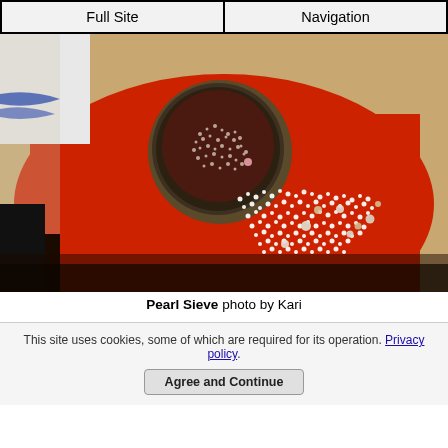Full Site | Navigation
[Figure (photo): A metal sieve/bowl filled with tiny pearls, tipped over onto a red cloth, with hundreds of small white pearls spilling out across the fabric. The background shows a patterned rug.]
Pearl Sieve photo by Kari
This site uses cookies, some of which are required for its operation. Privacy policy.
Agree and Continue